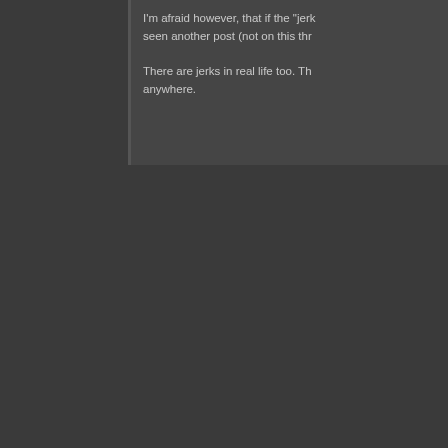I'm afraid however, that if the "jerk" behavior... seen another post (not on this thr...

There are jerks in real life too. Th... anywhere.
In real life there are consequences to w... society. It is basically where chaos reign... would not diminish the game in any way... sec. No one has raised a single compel... they didn't want to. The reality is that an... needs help instead of encouragement. T... achieve a release where there are no a...
#207 - 2017-01-27 04:29:02 UTC
[Figure (photo): Forum user avatar showing a dark-haired man with beard against a grey background]
Quote: There is no such thing as "a fair f...